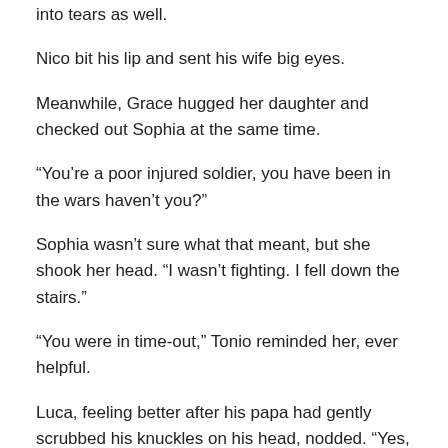into tears as well.
Nico bit his lip and sent his wife big eyes.
Meanwhile, Grace hugged her daughter and checked out Sophia at the same time.
“You’re a poor injured soldier, you have been in the wars haven’t you?”
Sophia wasn’t sure what that meant, but she shook her head. “I wasn’t fighting. I fell down the stairs.”
“You were in time-out,” Tonio reminded her, ever helpful.
Luca, feeling better after his papa had gently scrubbed his knuckles on his head, nodded. “Yes, because you were naughty.”
Sophia made a face. “I can be a little bit naughty, but